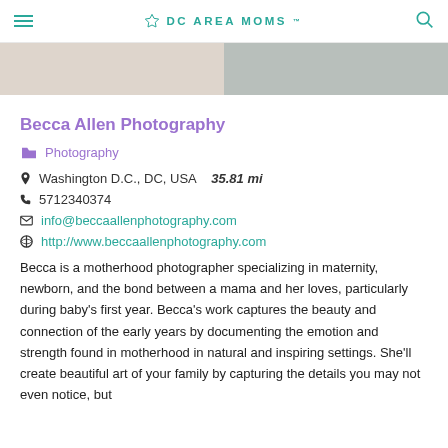DC AREA MOMS
[Figure (photo): Partial photo strip showing two softly-lit images side by side]
Becca Allen Photography
Photography
Washington D.C., DC, USA  35.81 mi
5712340374
info@beccaallenphotography.com
http://www.beccaallenphotography.com
Becca is a motherhood photographer specializing in maternity, newborn, and the bond between a mama and her loves, particularly during baby’s first year. Becca’s work captures the beauty and connection of the early years by documenting the emotion and strength found in motherhood in natural and inspiring settings. She’ll create beautiful art of your family by capturing the details you may not even notice, but